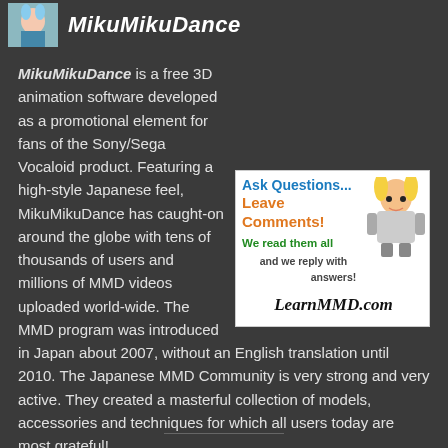MikuMikuDance
MikuMikuDance is a free 3D animation software developed as a promotional element for fans of the Sony/Sega Vocaloid product. Featuring a high-style Japanese feel, MikuMikuDance has caught-on around the globe with tens of thousands of users and millions of MMD videos uploaded world-wide. The MMD program was introduced in Japan about 2007, without an English translation until 2010. The Japanese MMD Community is very strong and very active. They created a masterful collection of models, accessories and techniques for which all users today are most grateful!
[Figure (illustration): Advertisement box for LearnMMD.com with anime character. Text reads: Ask Questions... Leave Comments! We read them all and we reply with answers! LearnMMD.com]